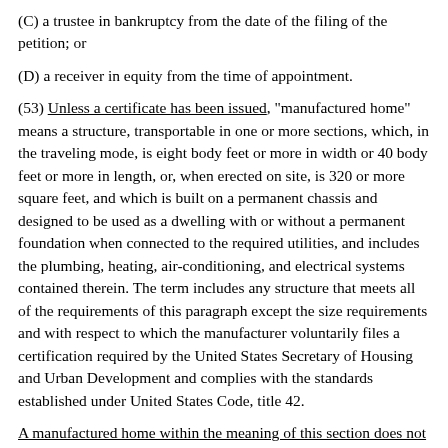(C) a trustee in bankruptcy from the date of the filing of the petition; or
(D) a receiver in equity from the time of appointment.
(53) Unless a certificate has been issued, "manufactured home" means a structure, transportable in one or more sections, which, in the traveling mode, is eight body feet or more in width or 40 body feet or more in length, or, when erected on site, is 320 or more square feet, and which is built on a permanent chassis and designed to be used as a dwelling with or without a permanent foundation when connected to the required utilities, and includes the plumbing, heating, air-conditioning, and electrical systems contained therein. The term includes any structure that meets all of the requirements of this paragraph except the size requirements and with respect to which the manufacturer voluntarily files a certification required by the United States Secretary of Housing and Urban Development and complies with the standards established under United States Code, title 42.
A manufactured home within the meaning of this section does not include a manufactured home for which a certificate of title as defined in section 336.9-102(a)(10) has been issued.
(54) "Manufactured home transaction" means a secured